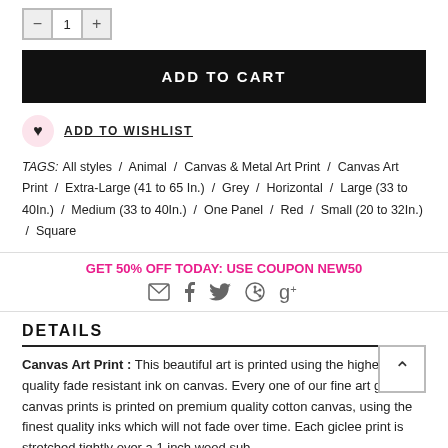[Figure (other): Quantity selector with minus button, value '1', and plus button]
ADD TO CART
ADD TO WISHLIST
TAGS: All styles / Animal / Canvas & Metal Art Print / Canvas Art Print / Extra-Large (41 to 65 In.) / Grey / Horizontal / Large (33 to 40In.) / Medium (33 to 40In.) / One Panel / Red / Small (20 to 32In.) / Square
GET 50% OFF TODAY: USE COUPON NEW50
[Figure (other): Social share icons: email, facebook, twitter, pinterest, google plus]
DETAILS
Canvas Art Print : This beautiful art is printed using the highest quality fade resistant ink on canvas. Every one of our fine art giclee canvas prints is printed on premium quality cotton canvas, using the finest quality inks which will not fade over time. Each giclee print is stretched tightly over a 1 inch wood sub